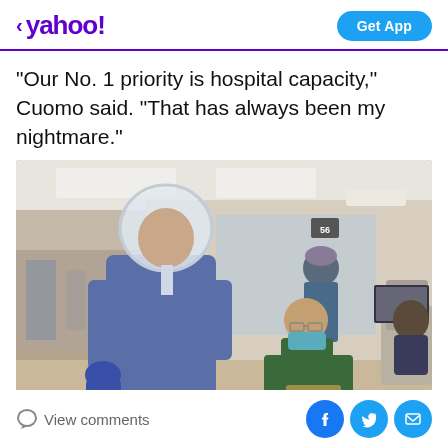< yahoo!  Get App
"Our No. 1 priority is hospital capacity," Cuomo said. “That has always been my nightmare.”
[Figure (photo): Healthcare workers in a hospital setting. In the foreground, a person in a blue protective gown and full-face shield is being assisted by another person in a green top and blue face mask. In the background, another healthcare worker in blue scrubs and a cap is visible, along with hospital equipment and a workstation.]
View comments